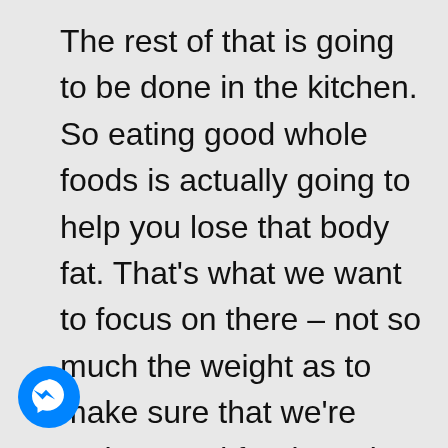The rest of that is going to be done in the kitchen. So eating good whole foods is actually going to help you lose that body fat. That's what we want to focus on there – not so much the weight as to make sure that we're eating good foods and we're losing body fat.
[Figure (logo): Facebook Messenger logo – blue circle with white lightning bolt chat bubble icon]